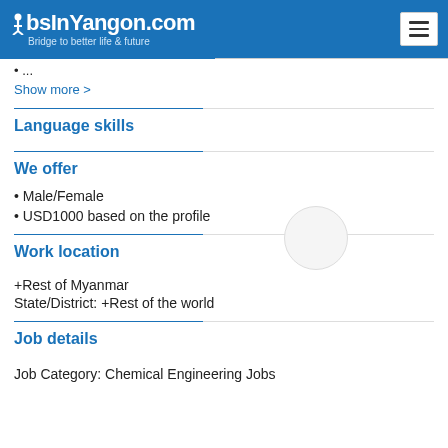JobsInYangon.com — Bridge to better life & future
...
Show more >
Language skills
We offer
• Male/Female
• USD1000 based on the profile
Work location
+Rest of Myanmar
State/District: +Rest of the world
Job details
Job Category: Chemical Engineering Jobs